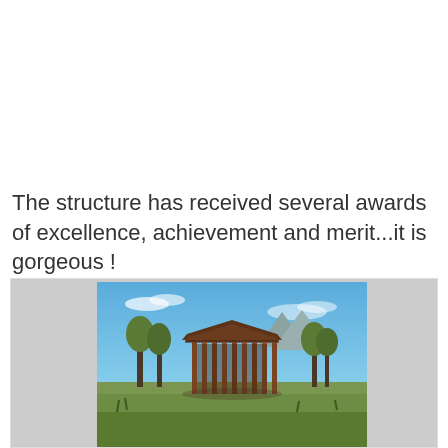The structure has received several awards of excellence, achievement and merit...it is gorgeous !
[Figure (photo): A wooden open-sided pavilion structure with a wide overhanging roof, set in a natural meadow landscape with trees and mountains in the background under a clear blue sky.]